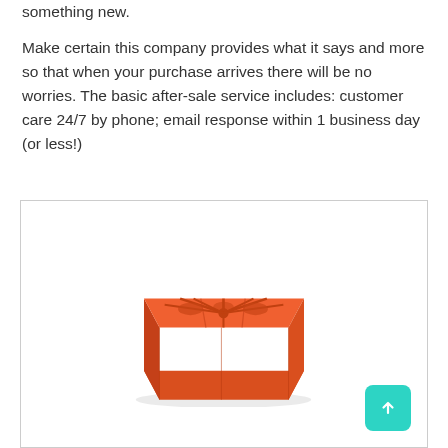something new.
Make certain this company provides what it says and more so that when your purchase arrives there will be no worries. The basic after-sale service includes: customer care 24/7 by phone; email response within 1 business day (or less!)
[Figure (photo): Orange silicone star-shaped baking mold tray photographed at an angle on a white background inside a bordered box, with a teal scroll-to-top button in the bottom right corner.]